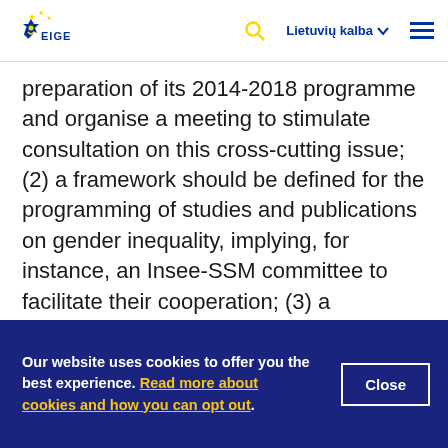EIGE | Lietuvių kalba
preparation of its 2014-2018 programme and organise a meeting to stimulate consultation on this cross-cutting issue; (2) a framework should be defined for the programming of studies and publications on gender inequality, implying, for instance, an Insee-SSM committee to facilitate their cooperation; (3) a monitoring system should be implemented in every public statistics service to identify missing data in order to improve administrative data and adjust existing
Our website uses cookies to offer you the best experience. Read more about cookies and how you can opt out.